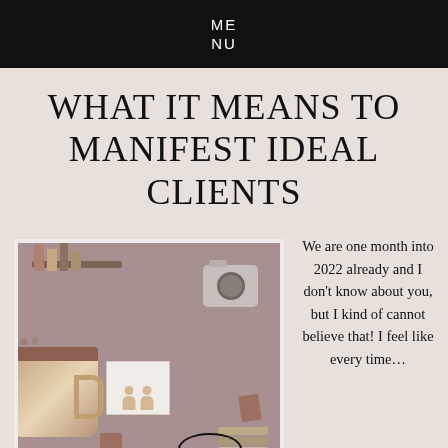ME
NU
WHAT IT MEANS TO MANIFEST IDEAL CLIENTS
[Figure (illustration): An illustrated flat-design scene showing a large coffee mug with steam, a camera, a framed photo with two people, bookshelves, chairs, and books arranged on a muted purple-brown background. A partial circle appears at the bottom.]
We are one month into 2022 already and I don't know about you, but I kind of cannot believe that! I feel like every time…